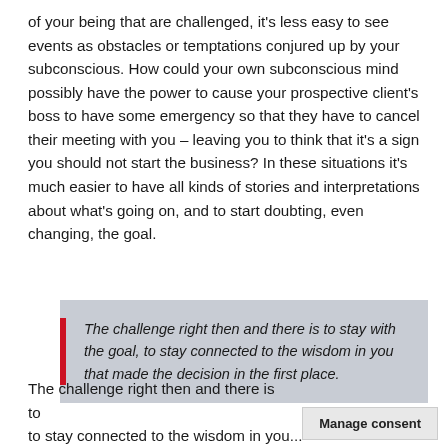of your being that are challenged, it's less easy to see events as obstacles or temptations conjured up by your subconscious. How could your own subconscious mind possibly have the power to cause your prospective client's boss to have some emergency so that they have to cancel their meeting with you – leaving you to think that it's a sign you should not start the business? In these situations it's much easier to have all kinds of stories and interpretations about what's going on, and to start doubting, even changing, the goal.
The challenge right then and there is to stay with the goal, to stay connected to the wisdom in you that made the decision in the first place.
The challenge right then and there is to stay connected to the wisdom in you...